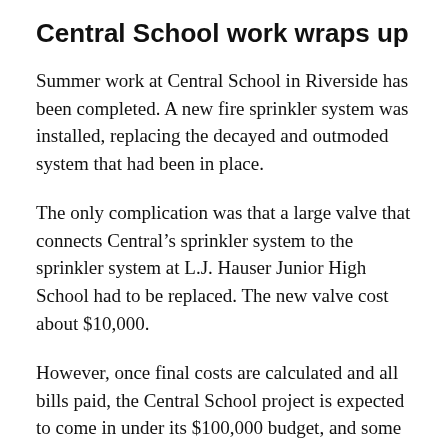Central School work wraps up
Summer work at Central School in Riverside has been completed. A new fire sprinkler system was installed, replacing the decayed and outmoded system that had been in place.
The only complication was that a large valve that connects Central’s sprinkler system to the sprinkler system at L.J. Hauser Junior High School had to be replaced. The new valve cost about $10,000.
However, once final costs are calculated and all bills paid, the Central School project is expected to come in under its $100,000 budget, and some of the money in the project’s contingency fund will be returned to the